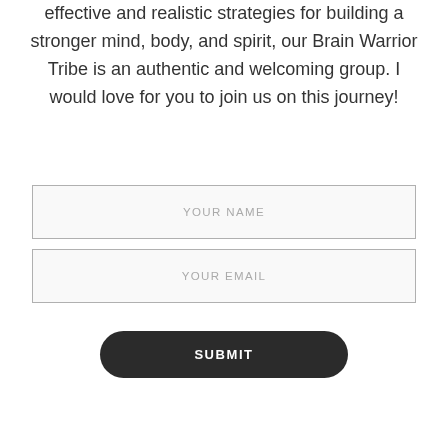effective and realistic strategies for building a stronger mind, body, and spirit, our Brain Warrior Tribe is an authentic and welcoming group. I would love for you to join us on this journey!
YOUR NAME
YOUR EMAIL
SUBMIT